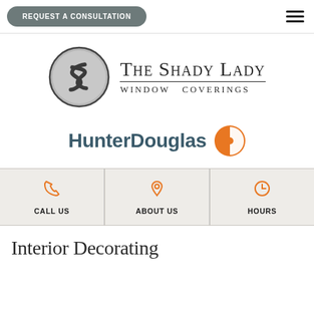REQUEST A CONSULTATION
[Figure (logo): The Shady Lady Window Coverings logo — circular grey emblem with stylized S, beside serif text 'The Shady Lady' and 'Window Coverings']
[Figure (logo): HunterDouglas logo with bold teal text and orange crosshair circle icon]
| CALL US | ABOUT US | HOURS |
| --- | --- | --- |
Interior Decorating